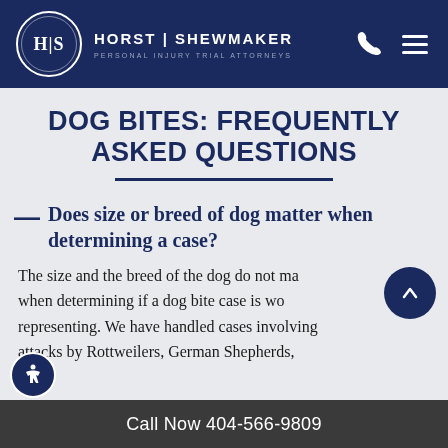HORST | SHEWMAKER — PERSONAL INJURY TRIAL ATTORNEYS
DOG BITES: FREQUENTLY ASKED QUESTIONS
Does size or breed of dog matter when determining a case?
The size and the breed of the dog do not matter when determining if a dog bite case is worth representing. We have handled cases involving attacks by Rottweilers, German Shepherds,
Call Now 404-566-9809